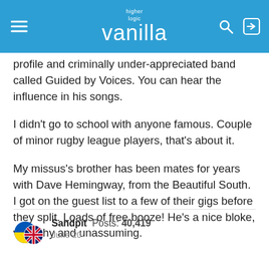higher logic vanilla
profile and criminally under-appreciated band called Guided by Voices. You can hear the influence in his songs.
I didn't go to school with anyone famous. Couple of minor rugby league players, that's about it.
My missus's brother has been mates for years with Dave Hemingway, from the Beautiful South. I got on the guest list to a few of their gigs before they split. Loads of free booze! He's a nice bloke, very shy and unassuming.
Sandpit  Posts: 40,419
June 20